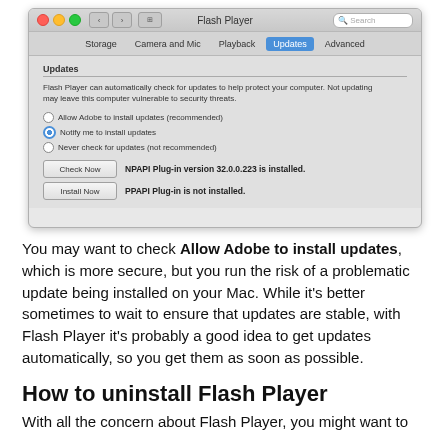[Figure (screenshot): macOS Flash Player preferences panel screenshot showing the Updates tab selected. Contains radio buttons for update options with 'Notify me to install updates' selected, and Check Now / Install Now buttons with NPAPI and PPAPI plugin version info.]
You may want to check Allow Adobe to install updates, which is more secure, but you run the risk of a problematic update being installed on your Mac. While it's better sometimes to wait to ensure that updates are stable, with Flash Player it's probably a good idea to get updates automatically, so you get them as soon as possible.
How to uninstall Flash Player
With all the concern about Flash Player, you might want to